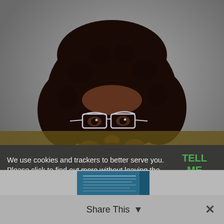[Figure (photo): Portrait photo of a smiling Black woman with natural afro hair, wearing cat-eye glasses and a gold/yellow lace sleeveless top, against a gray background. A dark olive/gold semi-transparent banner overlays the lower portion with script text 'about Jacquette'.]
about Jacquette
We use cookies and trackers to better serve you. Please click to find out more without leaving the page.
TELL ME MORE!
[Figure (photo): Partial view of a book with blue cover, text partially visible.]
Share This